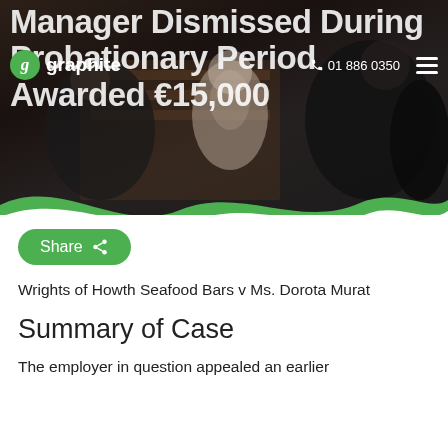[Figure (photo): Hero image with dark background showing silhouettes of people in what appears to be a courtroom or legal setting, with overlaid headline text about a manager dismissed during probationary period awarded €15,000]
graphite | 01 886 0350
Manager Dismissed During Probationary Period Awarded €15,000
Share
Wrights of Howth Seafood Bars v Ms. Dorota Murat
Summary of Case
The employer in question appealed an earlier